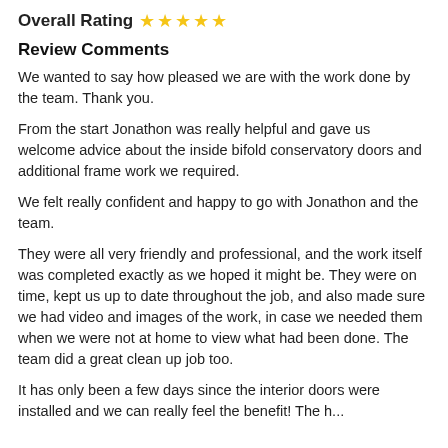Overall Rating ★★★★★
Review Comments
We wanted to say how pleased we are with the work done by the team. Thank you.
From the start Jonathon was really helpful and gave us welcome advice about the inside bifold conservatory doors and additional frame work we required.
We felt really confident and happy to go with Jonathon and the team.
They were all very friendly and professional, and the work itself was completed exactly as we hoped it might be. They were on time, kept us up to date throughout the job, and also made sure we had video and images of the work, in case we needed them when we were not at home to view what had been done. The team did a great clean up job too.
It has only been a few days since the interior doors were installed and we can really feel the benefit! The h...